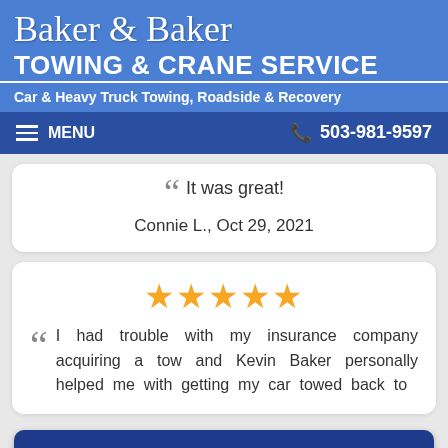Baker & Baker Towing & Crane Service
Car & Heavy Truck Towing, Roadside & Recovery
MENU   503-981-9597
It was great!
Connie L., Oct 29, 2021
★★★★★ I had trouble with my insurance company acquiring a tow and Kevin Baker personally helped me with getting my car towed back to
Call a Tow Truck Near You